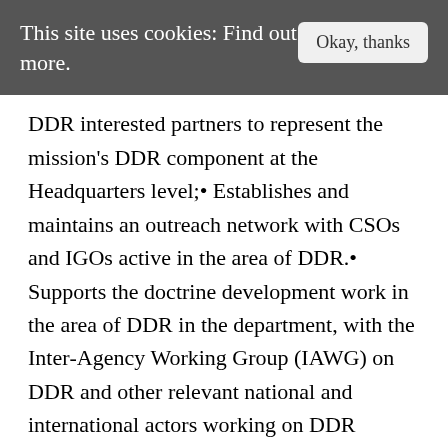This site uses cookies: Find out more.
DDR interested partners to represent the mission's DDR component at the Headquarters level;• Establishes and maintains an outreach network with CSOs and IGOs active in the area of DDR.• Supports the doctrine development work in the area of DDR in the department, with the Inter-Agency Working Group (IAWG) on DDR and other relevant national and international actors working on DDR issues;• Contributes to Department-level or Policy Committee-level policy development work on DDR and related issues;• Maintains and further